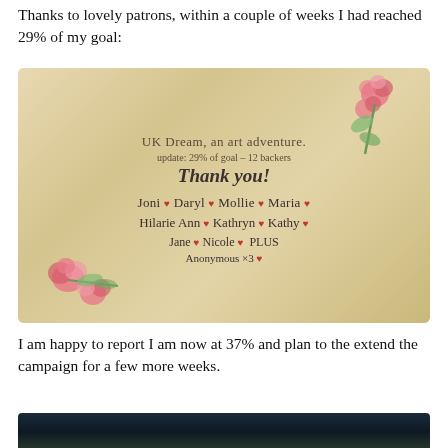Thanks to lovely patrons, within a couple of weeks I had reached 29% of my goal:
[Figure (illustration): Handwritten note on parchment-style paper with watercolor roses. Text reads: 'UK Dream, an art adventure. update: 29% of goal - 12 backers. Thank you! Joni ♥ Daryl ♥ Mollie ♥ Maria ♥ Hilarie Ann ♥ Kathryn ♥ Kathy ♥ Jane ♥ Nicole ♥ PLUS Anonymous x3 ♥']
I am happy to report I am now at 37% and plan to the extend the campaign for a few more weeks.
[Figure (photo): Dark nighttime photo, partially visible at bottom of page.]